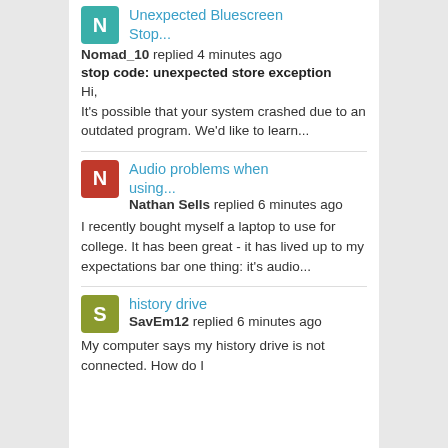Unexpected Bluescreen Stop... Nomad_10 replied 4 minutes ago
stop code: unexpected store exception
Hi,
It's possible that your system crashed due to an outdated program. We'd like to learn...
Audio problems when using... Nathan Sells replied 6 minutes ago
I recently bought myself a laptop to use for college. It has been great - it has lived up to my expectations bar one thing: it's audio...
history drive SavEm12 replied 6 minutes ago
My computer says my history drive is not connected. How do I